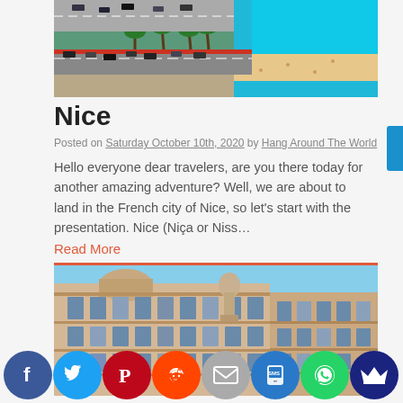[Figure (photo): Aerial view of Nice, France showing palm tree lined promenade, road with cars, and turquoise Mediterranean sea with beach.]
Nice
Posted on Saturday October 10th, 2020 by Hang Around The World
Hello everyone dear travelers, are you there today for another amazing adventure? Well, we are about to land in the French city of Nice, so let’s start with the presentation. Nice (Niça or Niss…
Read More
[Figure (photo): Photo of a grand classical French building with ornate architecture, stone facade, and blue sky. A statue is visible in the foreground.]
[Figure (infographic): Social media share buttons row: Facebook, Twitter, Pinterest, Reddit, Email, SMS, WhatsApp, and a crown icon button.]